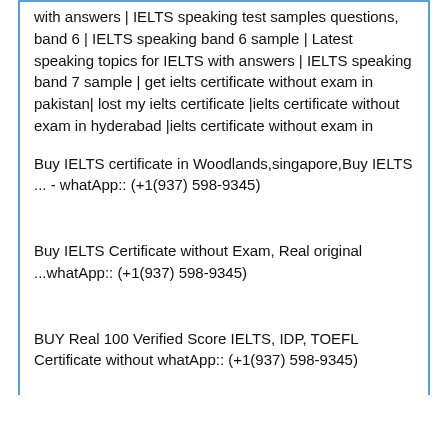with answers | IELTS speaking test samples questions, band 6 | IELTS speaking band 6 sample | Latest speaking topics for IELTS with answers | IELTS speaking band 7 sample | get ielts certificate without exam in pakistan| lost my ielts certificate |ielts certificate without exam in hyderabad |ielts certificate without exam in
Buy IELTS certificate in Woodlands,singapore,Buy IELTS ... - whatApp:: (+1(937) 598-9345)
Buy IELTS Certificate without Exam, Real original ...whatApp:: (+1(937) 598-9345)
BUY Real 100 Verified Score IELTS, IDP, TOEFL Certificate without whatApp:: (+1(937) 598-9345)
Top